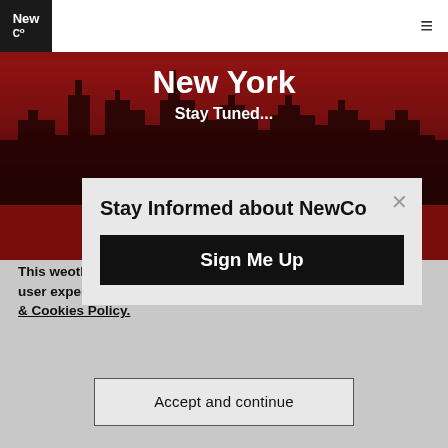[Figure (screenshot): NewCo logo in black box, top left header]
≡
[Figure (photo): New York city skyline with red-tinted overlay background]
New York
Stay Tuned...
Stay Informed about NewCo
Sign Me Up
This we other users. This helps us to provide you with a good user experience and allows us to improve our website. Privacy & Cookies Policy.
Accept and continue